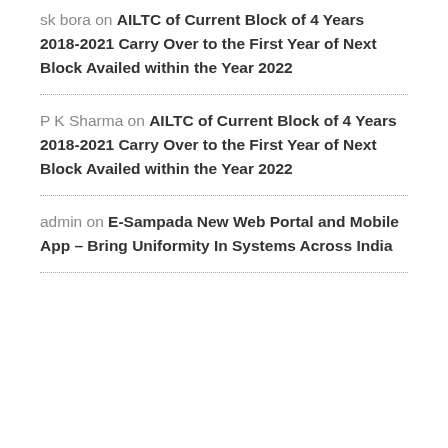sk bora on AILTC of Current Block of 4 Years 2018-2021 Carry Over to the First Year of Next Block Availed within the Year 2022
P K Sharma on AILTC of Current Block of 4 Years 2018-2021 Carry Over to the First Year of Next Block Availed within the Year 2022
admin on E-Sampada New Web Portal and Mobile App – Bring Uniformity In Systems Across India